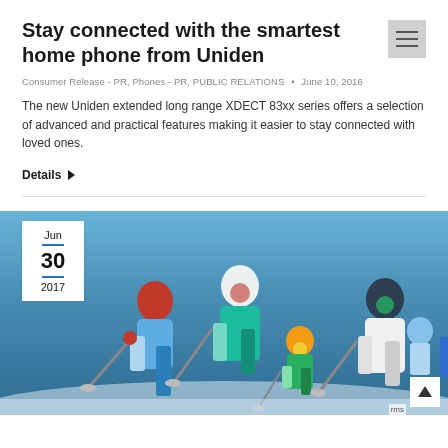Stay connected with the smartest home phone from Uniden
Consumer Release - PR, Phones - PR, PUBLIC RELATIONS • June 10, 2016
The new Uniden extended long range XDECT 83xx series offers a selection of advanced and practical features making it easier to stay connected with loved ones.
Details ▶
[Figure (photo): Family of skiers wearing helmets and goggles posing outdoors against a blue sky, with a date badge overlay showing Jun 30 2017]